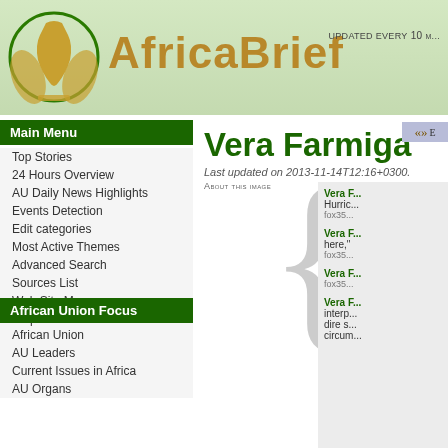AfricaBrief — Updated every 10 m...
Main Menu
Top Stories
24 Hours Overview
AU Daily News Highlights
Events Detection
Edit categories
Most Active Themes
Advanced Search
Sources List
Web Site Map
Help
African Union Focus
African Union
AU Leaders
Current Issues in Africa
AU Organs
Vera Farmiga
Last updated on 2013-11-14T12:16+0300.
About this image
Vera F... Hurric... fox35...
Vera F... here," fox35...
Vera F... fox35...
Vera F... interp... dire s... circum...